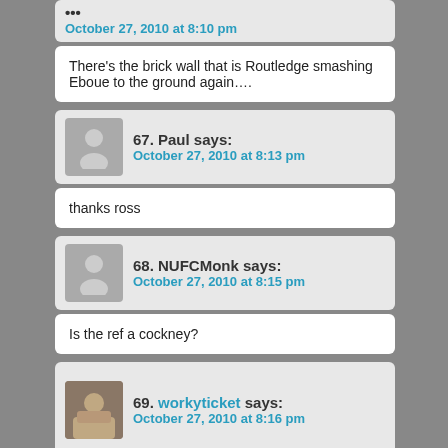October 27, 2010 at 8:10 pm
There's the brick wall that is Routledge smashing Eboue to the ground again….
67. Paul says:
October 27, 2010 at 8:13 pm
thanks ross
68. NUFCMonk says:
October 27, 2010 at 8:15 pm
Is the ref a cockney?
69. workyticket says:
October 27, 2010 at 8:16 pm